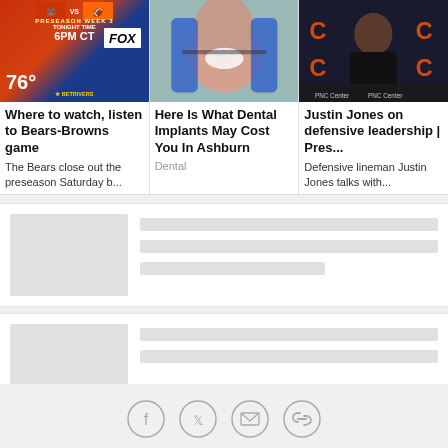[Figure (photo): Bears vs Browns FOX broadcast graphic with weather 76 degrees]
Where to watch, listen to Bears-Browns game
The Bears close out the preseason Saturday b...
[Figure (photo): Dental implant procedure photo showing gloved hands working on patient teeth]
Here Is What Dental Implants May Cost You In Ashburn
Dental
[Figure (photo): Justin Jones Chicago Bears press conference photo at PNC Center]
Justin Jones on defensive leadership | Pres...
Defensive lineman Justin Jones talks with...
[Figure (other): Loading skeleton card 1 with placeholder image and text lines]
[Figure (other): Loading skeleton card 2 with placeholder image and text lines]
[Figure (infographic): Social share bar with Facebook, Twitter, email, and link icons]